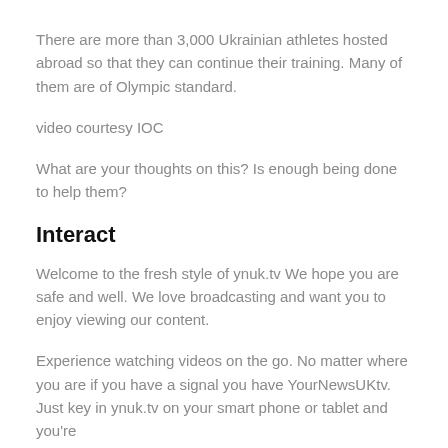There are more than 3,000 Ukrainian athletes hosted abroad so that they can continue their training.  Many of them are of Olympic standard.
video courtesy IOC
What are your thoughts on this?  Is enough being done to help them?
Interact
Welcome to the fresh style of ynuk.tv  We hope you are safe and well.  We love broadcasting and want you to enjoy viewing our content.
Experience watching videos on the go.  No matter where you are if you have a signal you have YourNewsUKtv.  Just key in ynuk.tv on your smart phone or tablet and you're